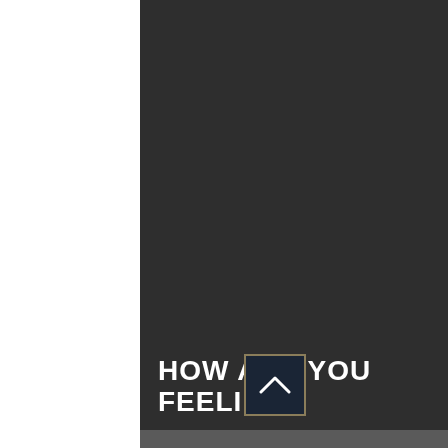[Figure (illustration): Dark charcoal background panel covering the right portion of the page, with a title text block at the bottom left reading 'HOW ARE YOU FEELING?' in bold white uppercase letters, and a small navigation button (upward chevron) at the bottom right.]
HOW ARE YOU FEELING?